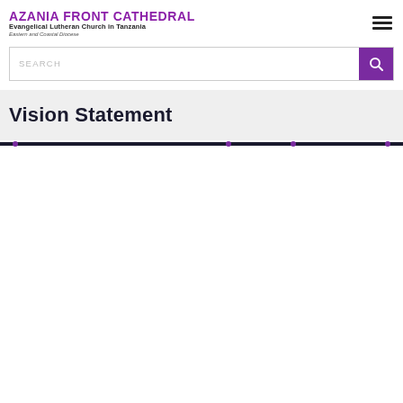AZANIA FRONT CATHEDRAL Evangelical Lutheran Church in Tanzania Eastern and Coastal Diocese
SEARCH
Vision Statement